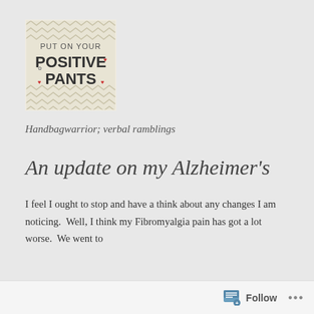[Figure (logo): Blog logo with chevron/zigzag pattern background reading 'PUT ON YOUR POSITIVE PANTS' with decorative hearts and flowers]
Handbagwarrior; verbal ramblings
An update on my Alzheimer's
I feel I ought to stop and have a think about any changes I am noticing.  Well, I think my Fibromyalgia pain has got a lot worse.  We went to
Follow ...